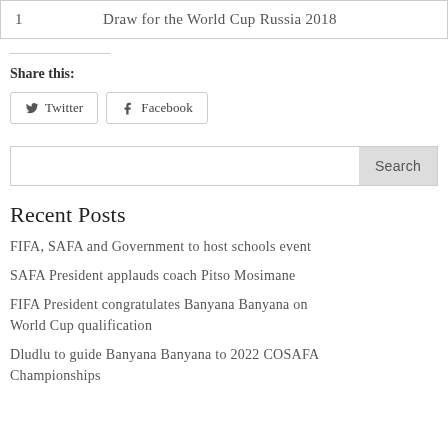| 1 | Draw for the World Cup Russia 2018 |
Share this:
Twitter   Facebook
Search
Recent Posts
FIFA, SAFA and Government to host schools event
SAFA President applauds coach Pitso Mosimane
FIFA President congratulates Banyana Banyana on World Cup qualification
Dludlu to guide Banyana Banyana to 2022 COSAFA Championships